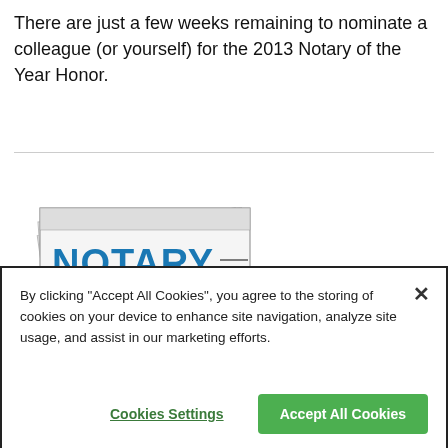There are just a few weeks remaining to nominate a colleague (or yourself) for the 2013 Notary of the Year Honor.
[Figure (illustration): Newspaper illustration with 'NOTARY BULLETIN' text in blue and gray on the front page, with bar charts and columns visible]
By clicking "Accept All Cookies", you agree to the storing of cookies on your device to enhance site navigation, analyze site usage, and assist in our marketing efforts.
Cookies Settings
Accept All Cookies